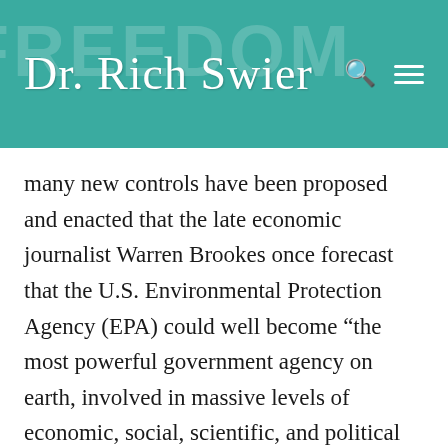Dr. Rich Swier
many new controls have been proposed and enacted that the late economic journalist Warren Brookes once forecast that the U.S. Environmental Protection Agency (EPA) could well become “the most powerful government agency on earth, involved in massive levels of economic, social, scientific, and political spending and interference.
But if the profit motive is the primary cause of pollution, one would not expect to find much pollution in socialist countries, such as the former Soviet Union, China, and in the former